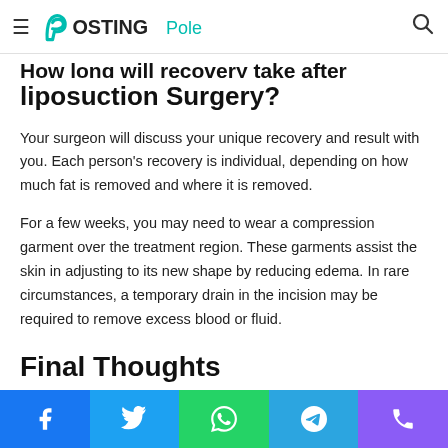PostingPole (logo with hamburger menu and search icon)
How long will recovery take after liposuction Surgery?
Your surgeon will discuss your unique recovery and result with you. Each person's recovery is individual, depending on how much fat is removed and where it is removed.
For a few weeks, you may need to wear a compression garment over the treatment region. These garments assist the skin in adjusting to its new shape by reducing edema. In rare circumstances, a temporary drain in the incision may be required to remove excess blood or fluid.
Final Thoughts
Social share bar: Facebook, Twitter, WhatsApp, Telegram, Phone